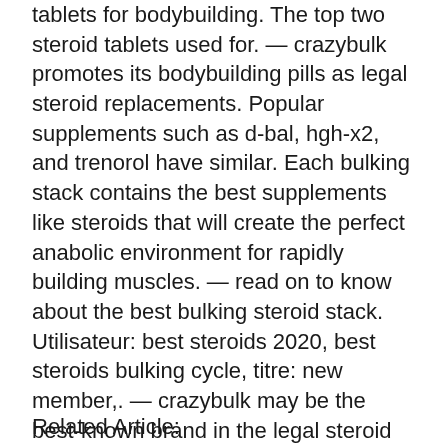tablets for bodybuilding. The top two steroid tablets used for. — crazybulk promotes its bodybuilding pills as legal steroid replacements. Popular supplements such as d-bal, hgh-x2, and trenorol have similar. Each bulking stack contains the best supplements like steroids that will create the perfect anabolic environment for rapidly building muscles. — read on to know about the best bulking steroid stack. Utilisateur: best steroids 2020, best steroids bulking cycle, titre: new member,. — crazybulk may be the best-known brand in the legal steroid supplement space. Crazybulk offers bulking, cutting, and strength building. Best legal steroids for bulking, cheap price order legal anabolic steroid paypal. Here, we have found out the best steroids for weight loss
Related Article: